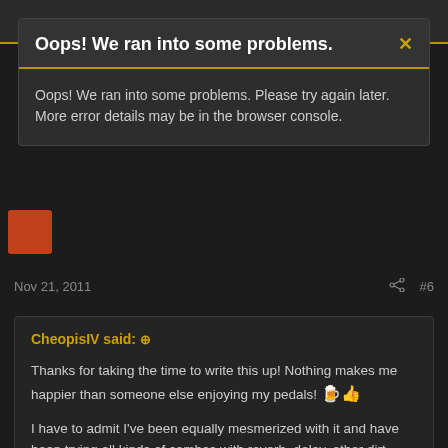Oops! We ran into some problems.
Oops! We ran into some problems. Please try again later. More error details may be in the browser console.
Nov 21, 2011
#6
CheopisIV said:
Thanks for taking the time to write this up! Nothing makes me happier than someone else enjoying my pedals! 🍺👍
I have to admit I've been equally mesmerized with it and have been trying all kinds of combos with reverb, delay, other dirt boxes before and after it... my favorite combo to date is
Click to expand...